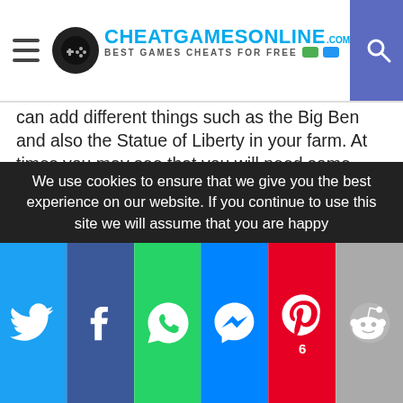CHEATGAMESONLINE.COM — BEST GAMES CHEATS FOR FREE
can add different things such as the Big Ben and also the Statue of Liberty in your farm. At times you may see that you will need some enhancements to your game and this is why we have released this tool for you too use. Thanks to this tool you will be able to have fun.
How to use Township Hack?
This new Township Hack Cheat will be working by adding all of the Cash and Coins to you. You will see that if you do so, you won`t have any problems and you will manage to become a better player of the game. We encourage you to have fun with this Township Cheat and you can be sure
We use cookies to ensure that we give you the best experience on our website. If you continue to use this site we will assume that you are happy
[Figure (infographic): Social share buttons bar: Twitter, Facebook, WhatsApp, Messenger, Pinterest (6), Reddit]